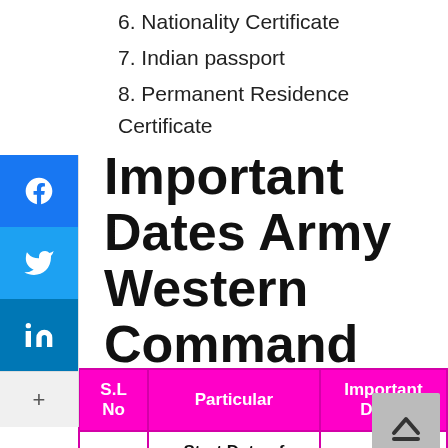6. Nationality Certificate
7. Indian passport
8. Permanent Residence Certificate
Important Dates Army Western Command Group-c Recruitment 2022
| S.L No | Particular | Important Dates |
| --- | --- | --- |
| 1 | Start Date of Online Registration | 13-05-2022 |